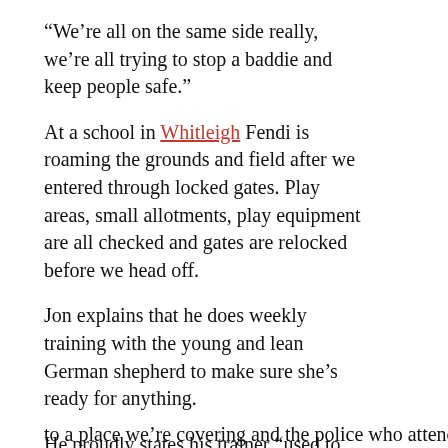“We’re all on the same side really, we’re all trying to stop a baddie and keep people safe.”
At a school in Whitleigh Fendi is roaming the grounds and field after we entered through locked gates. Play areas, small allotments, play equipment are all checked and gates are relocked before we head off.
Jon explains that he does weekly training with the young and lean German shepherd to make sure she’s ready for anything.
He proudly states his trainer “used to work with Devon and Cornwall Police… we train to the same standard”.
[Figure (screenshot): Cookie consent overlay: dark background panel with text 'This website uses cookies to ensure you get the best experience on our website. Learn more' and a yellow 'Got it!' button.]
to a place we’re covering and the police who attend don’t